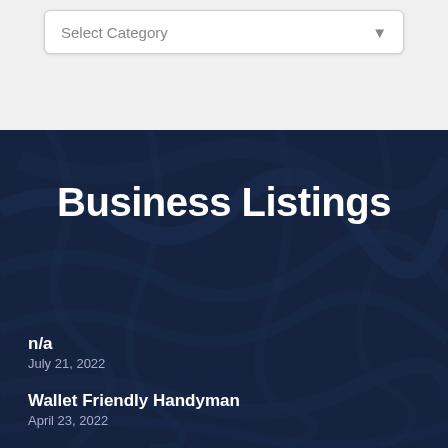[Figure (screenshot): A dropdown UI element with placeholder text 'Select Category' and a down arrow, on a light gray background]
Business Listings
n/a
July 21, 2022
Wallet Friendly Handyman
April 23, 2022